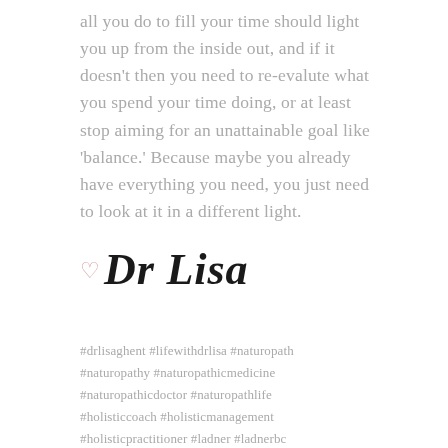all you do to fill your time should light you up from the inside out, and if it doesn't then you need to re-evalute what you spend your time doing, or at least stop aiming for an unattainable goal like 'balance.' Because maybe you already have everything you need, you just need to look at it in a different light.
♡ Dr Lisa
#drlisaghent #lifewithdrlisa #naturopath #naturopathy #naturopathicmedicine #naturopathicdoctor #naturopathlife #holisticcoach #holisticmanagement #holisticpractitioner #ladner #ladnerbc